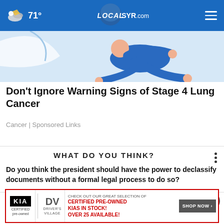71° LOCALsyr.com
[Figure (illustration): Illustration of a person in blue clothing running or leaping, with a white curved object in background]
Don't Ignore Warning Signs of Stage 4 Lung Cancer
Cancer | Sponsored Links
WHAT DO YOU THINK?
Do you think the president should have the power to declassify documents without a formal legal process to do so?
Yes, I think so
[Figure (screenshot): Advertisement banner: KIA Certified Pre-Owned and Driver's Village ad. Text: CHECK OUT OUR GREAT SELECTION OF CERTIFIED PRE-OWNED KIAS IN STOCK! OVER 25 AVAILABLE! SHOP NOW]